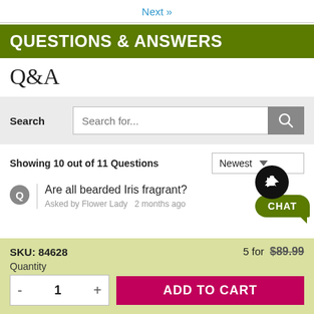Next »
QUESTIONS & ANSWERS
Q&A
Search  Search for...
Showing 10 out of 11 Questions  Newest
Are all bearded Iris fragrant?  Asked by Flower Lady  2 months ago
SKU: 84628  5 for $89.99  Quantity  - 1 +  ADD TO CART